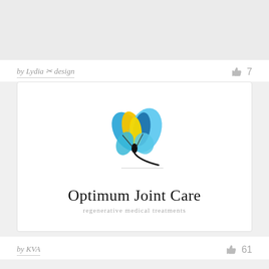by Lydia ✂ design
7
[Figure (logo): Colorful butterfly logo with blue, yellow, and teal wing petals and a black stylized dragonfly/bee body, above the text 'Optimum Joint Care' and tagline 'regenerative medical treatments']
by KVA
61